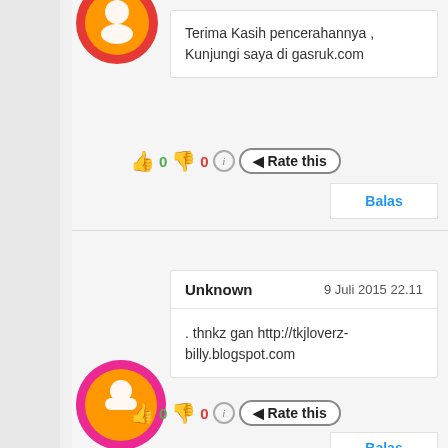Terima Kasih pencerahannya , Kunjungi saya di gasruk.com
👍 0 👎 0 ℹ Rate this
Balas
Unknown  9 Juli 2015 22.11
. thnkz gan http://tkjloverz-billy.blogspot.com
👍 0 👎 0 ℹ Rate this
Balas